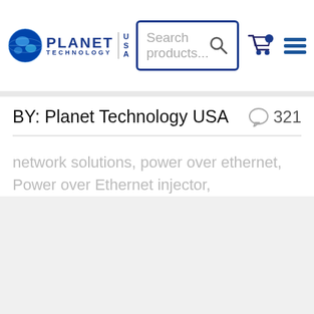[Figure (logo): Planet Technology USA logo with globe icon, blue text reading PLANET TECHNOLOGY and USA badge]
[Figure (screenshot): Search products input box with search icon, dark blue border]
[Figure (other): Shopping cart icon and hamburger menu icon in navy/dark blue]
BY: Planet Technology USA
321
network solutions, power over ethernet, Power over Ethernet injector,